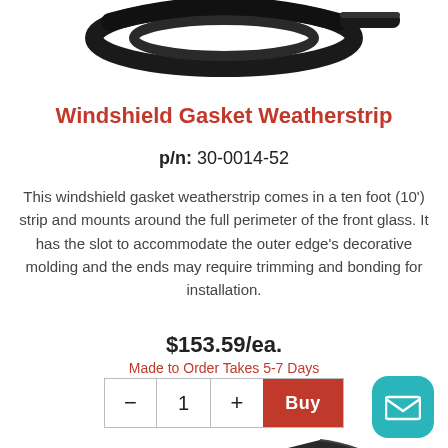[Figure (photo): Coiled black rubber windshield gasket weatherstrip shown from above, cropped at top of page.]
Windshield Gasket Weatherstrip
p/n: 30-0014-52
This windshield gasket weatherstrip comes in a ten foot (10') strip and mounts around the full perimeter of the front glass. It has the slot to accommodate the outer edge's decorative molding and the ends may require trimming and bonding for installation.
$153.59/ea.
Made to Order Takes 5-7 Days
[Figure (photo): Dark triangular rubber or foam corner/wedge piece, partially visible at bottom of page.]
[Figure (illustration): Teal rounded-square chat/email button icon with envelope symbol, bottom right corner.]